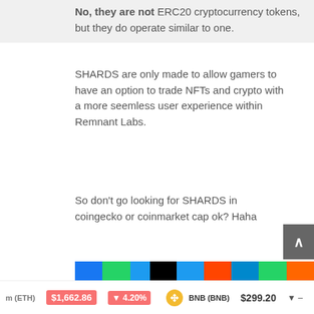No, they are not ERC20 cryptocurrency tokens, but they do operate similar to one.
SHARDS are only made to allow gamers to have an option to trade NFTs and crypto with a more seemless user experience within Remnant Labs.
So don't go looking for SHARDS in coingecko or coinmarket cap ok? Haha
[Figure (illustration): Banner image showing a gaming character with green hair on the left side, and bold italic white text reading '1ST EVER IGO' on a dark purple/blue background.]
m (ETH) $1,662.86 ▼ 4.20%   BNB (BNB) $299.20 ▼ –